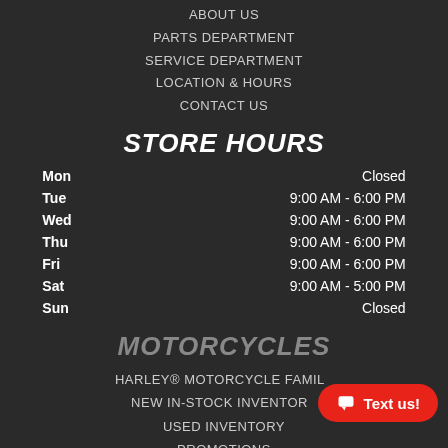ABOUT US
PARTS DEPARTMENT
SERVICE DEPARTMENT
LOCATION & HOURS
CONTACT US
STORE HOURS
| Day | Hours |
| --- | --- |
| Mon | Closed |
| Tue | 9:00 AM - 6:00 PM |
| Wed | 9:00 AM - 6:00 PM |
| Thu | 9:00 AM - 6:00 PM |
| Fri | 9:00 AM - 6:00 PM |
| Sat | 9:00 AM - 5:00 PM |
| Sun | Closed |
MOTORCYCLES
HARLEY® MOTORCYCLE FAMILY
NEW IN-STOCK INVENTORY
USED INVENTORY
PROMOTIONS